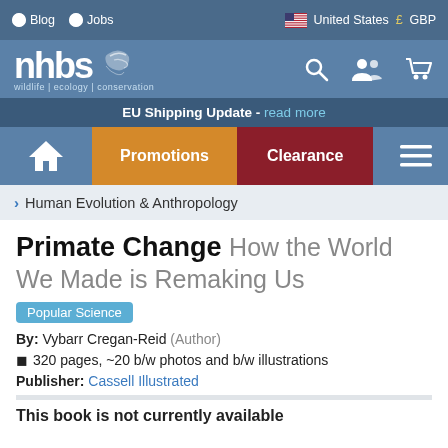Blog  Jobs  |  United States  GBP
[Figure (logo): NHBS wildlife | ecology | conservation logo with search, account, and cart icons]
EU Shipping Update - read more
Home  Promotions  Clearance  Menu
> Human Evolution & Anthropology
Primate Change How the World We Made is Remaking Us
Popular Science
By: Vybarr Cregan-Reid (Author)
320 pages, ~20 b/w photos and b/w illustrations
Publisher: Cassell Illustrated